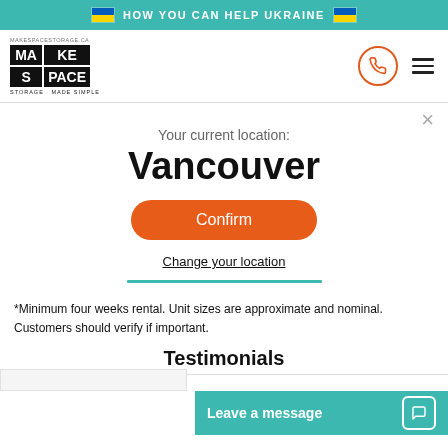HOW YOU CAN HELP UKRAINE
[Figure (logo): Make Space Storage logo with tagline 'Storage Made Simple']
Your current location:
Vancouver
Confirm
Change your location
*Minimum four weeks rental. Unit sizes are approximate and nominal. Customers should verify if important.
Testimonials
Leave a message